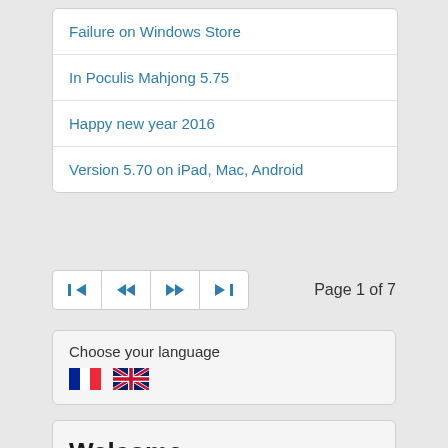Failure on Windows Store
In Poculis Mahjong 5.75
Happy new year 2016
Version 5.70 on iPad, Mac, Android
Page 1 of 7
Choose your language
Welcome
Mahjong Game
The game
Download
Screenshots